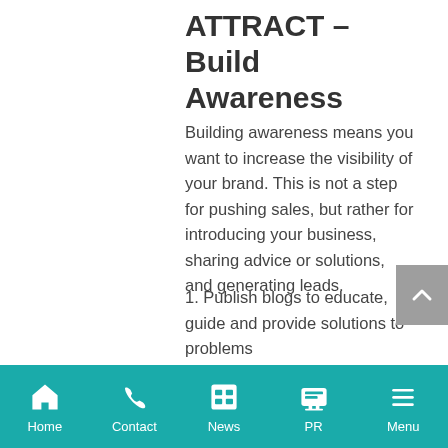ATTRACT – Build Awareness
Building awareness means you want to increase the visibility of your brand. This is not a step for pushing sales, but rather for introducing your business, sharing advice or solutions, and generating leads.
1. Publish blogs to educate, guide and provide solutions to problems
Home  Contact  News  PR  Menu